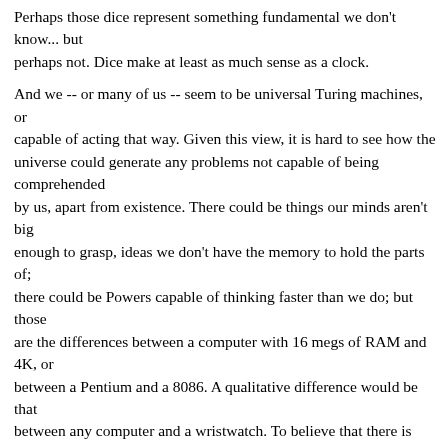Perhaps those dice represent something fundamental we don't know... but perhaps not. Dice make at least as much sense as a clock.

And we -- or many of us -- seem to be universal Turing machines, or capable of acting that way. Given this view, it is hard to see how the universe could generate any problems not capable of being comprehended by us, apart from existence. There could be things our minds aren't big enough to grasp, ideas we don't have the memory to hold the parts of; there could be Powers capable of thinking faster than we do; but those are the differences between a computer with 16 megs of RAM and 4K, or between a Pentium and a 8086. A qualitative difference would be that between any computer and a wristwatch. To believe that there is such a difference above us is purely a matter of belief. Act on it if you wish; I find myself believing that no Power could do something which a